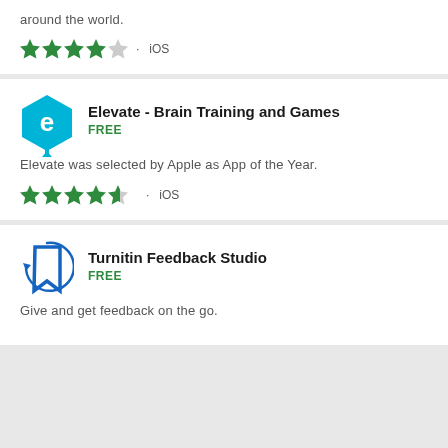around the world.
★★★★☆ · iOS
[Figure (logo): Elevate app icon - blue hexagon with letter e]
Elevate - Brain Training and Games
FREE
Elevate was selected by Apple as App of the Year.
★★★★½ · iOS
[Figure (logo): Turnitin Feedback Studio app icon - blue bookmark/flag shape]
Turnitin Feedback Studio
FREE
Give and get feedback on the go.